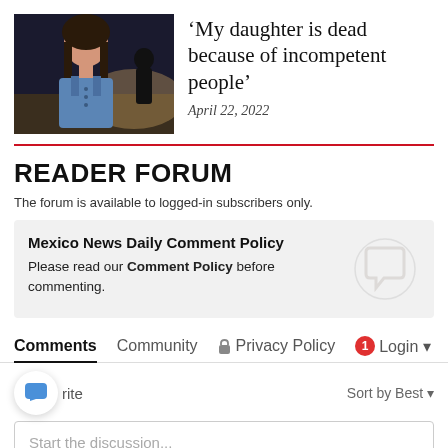[Figure (photo): Photo of a young woman with long dark hair wearing a blue denim top, outdoors at night]
‘My daughter is dead because of incompetent people’
April 22, 2022
READER FORUM
The forum is available to logged-in subscribers only.
Mexico News Daily Comment Policy
Please read our Comment Policy before commenting.
Comments   Community   🔒 Privacy Policy   1 Login ▾
Sort by Best ▾
Start the discussion...